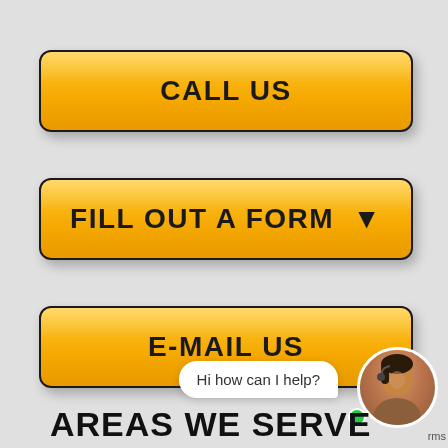[Figure (screenshot): Yellow call-to-action button labeled CALL US]
[Figure (screenshot): Yellow call-to-action button labeled FILL OUT A FORM with dropdown arrow]
[Figure (screenshot): Yellow call-to-action button labeled E-MAIL US]
Hi how can I help?
AREAS WE SERVE